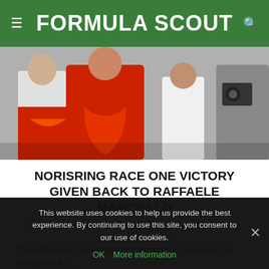FORMULA SCOUT
[Figure (photo): A racing driver in a red suit holding a flag or banner, with photographers in the background.]
NORISRING RACE ONE VICTORY GIVEN BACK TO RAFFAELE MARCIELLO
by Valentin Khorounzhiy | 13 July 2013
Tom Blomqvist remained the winner of race one of the European F3...
This website uses cookies to help us provide the best experience. By continuing to use this site, you consent to our use of cookies.
OK  More information